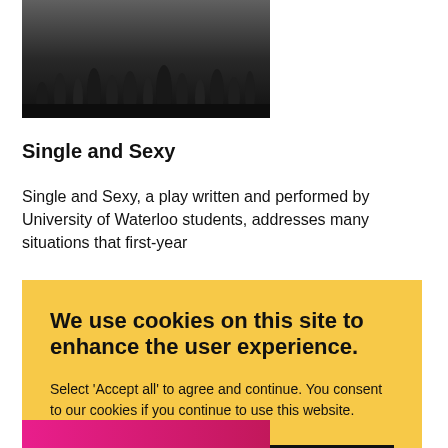[Figure (photo): A group of students standing in a dark space, viewed from behind or at an angle, likely on a stage or in a gymnasium during a performance or orientation event.]
Single and Sexy
Single and Sexy, a play written and performed by University of Waterloo students, addresses many situations that first-year
We use cookies on this site to enhance the user experience.
Select 'Accept all' to agree and continue. You consent to our cookies if you continue to use this website.
ACCEPT ALL
[Figure (photo): A pink/magenta colored bar or partial image visible at the bottom of the page.]